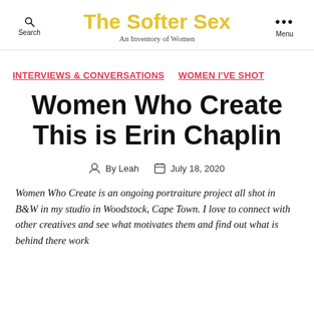The Softer Sex — An Inventory of Women
INTERVIEWS & CONVERSATIONS   WOMEN I'VE SHOT
Women Who Create This is Erin Chaplin
By Leah   July 18, 2020
Women Who Create is an ongoing portraiture project all shot in B&W in my studio in Woodstock, Cape Town. I love to connect with other creatives and see what motivates them and find out what is behind there work